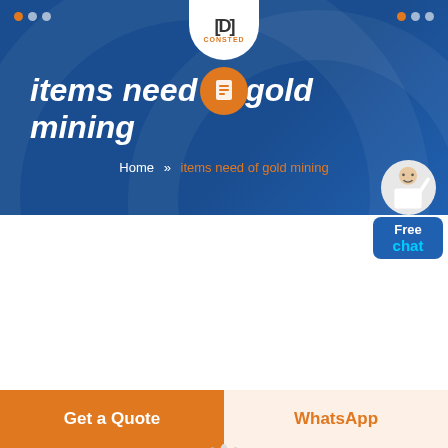CONSTED
items need of gold mining
Home » items need of gold mining
[Figure (screenshot): Website screenshot showing a factory interior with mining equipment on a blue banner background. A 'Free chat' widget with a person icon appears in the top-right corner. A loading spinner appears below the banner.]
Get a Quote
WhatsApp